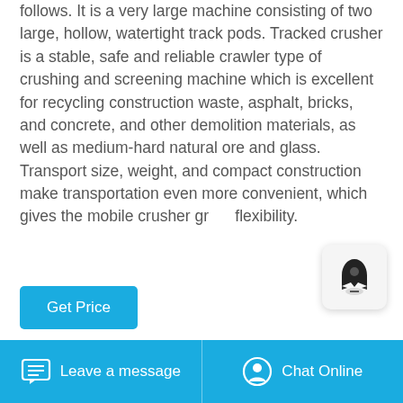follows. It is a very large machine consisting of two large, hollow, watertight track pods. Tracked crusher is a stable, safe and reliable crawler type of crushing and screening machine which is excellent for recycling construction waste, asphalt, bricks, and concrete, and other demolition materials, as well as medium-hard natural ore and glass. Transport size, weight, and compact construction make transportation even more convenient, which gives the mobile crusher gr... flexibility.
[Figure (other): Rocket/notification popup icon button]
[Figure (other): Get Price button (blue CTA button)]
[Figure (photo): Outdoor photo showing rocky terrain/quarry scene with bluish-grey sky and large rocks on the right side, with a small red flag marker in the middle distance]
Leave a message   Chat Online